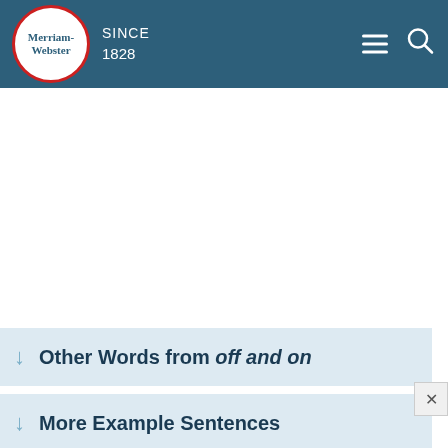Merriam-Webster SINCE 1828
Other Words from off and on
More Example Sentences
Learn More About off and on